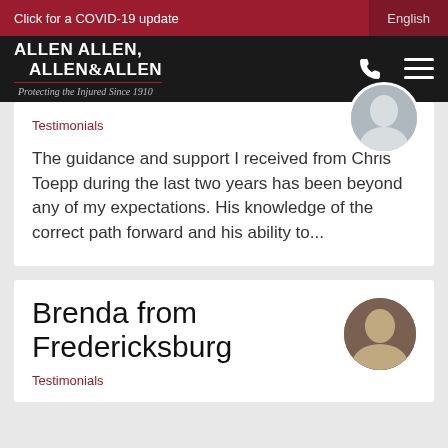Click for a COVID-19 update | English
[Figure (logo): Allen Allen Allen & Allen law firm logo with tagline Protecting the Injured Since 1910]
Testimonials
The guidance and support I received from Chris Toepp during the last two years has been beyond any of my expectations. His knowledge of the correct path forward and his ability to...
Brenda from Fredericksburg
Testimonials